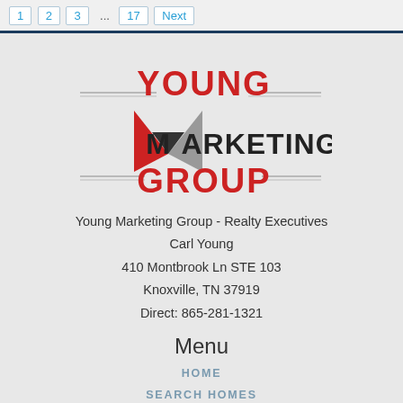1 2 3 ... 17 Next
[Figure (logo): Young Marketing Group logo with stylized M in red and grey, text YOUNG MARKETING GROUP in black and red with decorative horizontal lines]
Young Marketing Group - Realty Executives
Carl Young
410 Montbrook Ln STE 103
Knoxville, TN 37919
Direct: 865-281-1321
Menu
HOME
SEARCH HOMES
FEATURED
MY NOTEBOOK